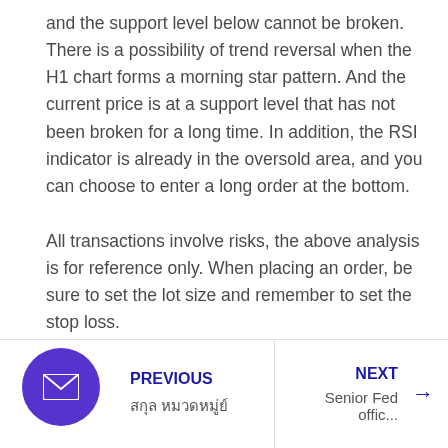and the support level below cannot be broken. There is a possibility of trend reversal when the H1 chart forms a morning star pattern. And the current price is at a support level that has not been broken for a long time. In addition, the RSI indicator is already in the oversold area, and you can choose to enter a long order at the bottom.
All transactions involve risks, the above analysis is for reference only. When placing an order, be sure to set the lot size and remember to set the stop loss.
PREVIOUS [Thai text] | NEXT Senior Fed offic...